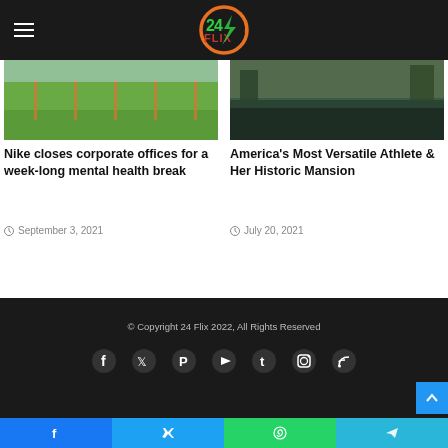24 Flix
[Figure (photo): Outdoor sports field with green grass and orange fencing]
Nike closes corporate offices for a week-long mental health break
September 3, 2021
[Figure (photo): Scenic river or waterway with dark water and green landscape]
America's Most Versatile Athlete & Her Historic Mansion
July 20, 2021
© Copyright 24 Flix 2022, All Rights Reserved